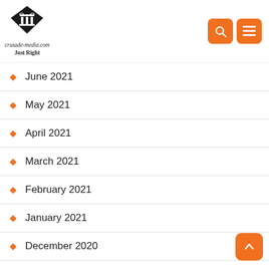[Figure (logo): crusade-media.com Just Right logo with diamond/column icon]
June 2021
May 2021
April 2021
March 2021
February 2021
January 2021
December 2020
November 2020